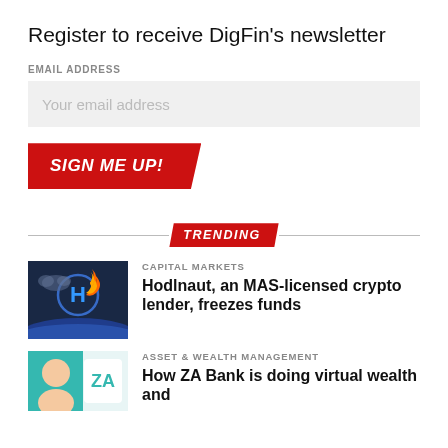Register to receive DigFin's newsletter
EMAIL ADDRESS
Your email address
SIGN ME UP!
TRENDING
CAPITAL MARKETS
Hodlnaut, an MAS-licensed crypto lender, freezes funds
[Figure (photo): Hodlnaut logo on dark blue space background with earth horizon]
ASSET & WEALTH MANAGEMENT
How ZA Bank is doing virtual wealth and
[Figure (photo): Person with teal and white branded graphic for ZA Bank article]